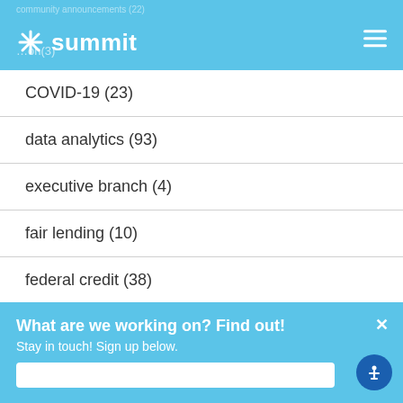summit
COVID-19 (23)
data analytics (93)
executive branch (4)
fair lending (10)
federal credit (38)
See all
What are we working on? Find out! Stay in touch! Sign up below.